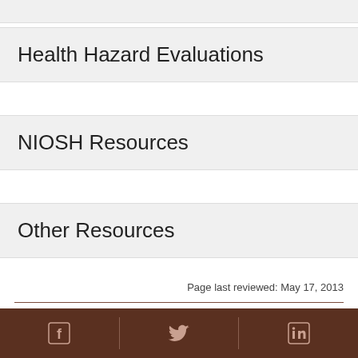Health Hazard Evaluations
NIOSH Resources
Other Resources
Page last reviewed: May 17, 2013
Workplace Safety & Health Topics
Facebook | Twitter | LinkedIn